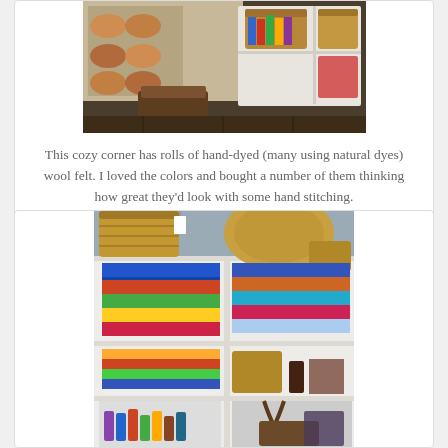[Figure (photo): Interior of a craft/fabric shop showing a cozy corner with a quilt on the wall, wooden foot stool, and shelving unit with baskets and colorful rolls of fabric/wool felt]
This cozy corner has rolls of hand-dyed (many using natural dyes) wool felt. I loved the colors and bought a number of them thinking how great they'd look with some hand stitching.
[Figure (photo): Interior of a craft/fabric shop showing white shelving units filled with colorful folded fabrics, wicker baskets on top, and various craft supplies on lower shelves]